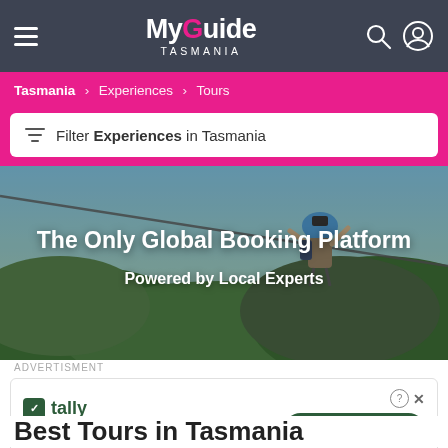My Guide TASMANIA
Tasmania > Experiences > Tours
Filter Experiences in Tasmania
[Figure (photo): Person zip-lining over forested valley, aerial view]
The Only Global Booking Platform
Powered by Local Experts
ADVERTISMENT
[Figure (infographic): Tally app advertisement: Fast credit card payoff, Download Now button]
Best Tours in Tasmania